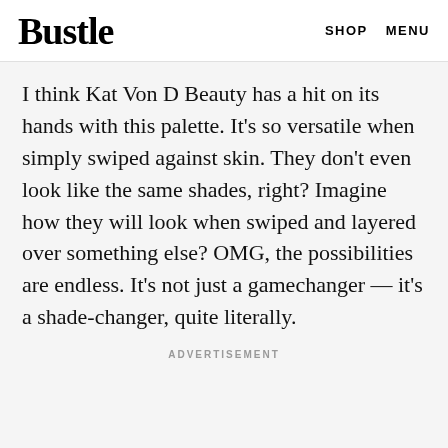Bustle  SHOP  MENU
I think Kat Von D Beauty has a hit on its hands with this palette. It's so versatile when simply swiped against skin. They don't even look like the same shades, right? Imagine how they will look when swiped and layered over something else? OMG, the possibilities are endless. It's not just a gamechanger — it's a shade-changer, quite literally.
ADVERTISEMENT